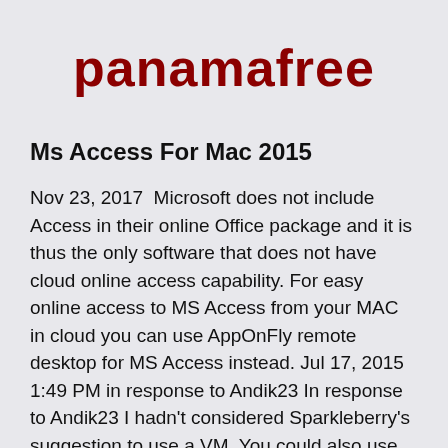panamafree
Ms Access For Mac 2015
Nov 23, 2017  Microsoft does not include Access in their online Office package and it is thus the only software that does not have cloud online access capability. For easy online access to MS Access from your MAC in cloud you can use AppOnFly remote desktop for MS Access instead. Jul 17, 2015 1:49 PM in response to Andik23 In response to Andik23 I hadn't considered Sparkleberry's suggestion to use a VM. You could also use the free VirtualBox to host the Windows VM to run Access. I've been using Windows Access since 1993 and Excel since 1993 (Mac) and 1993 (Windows). The above was ...